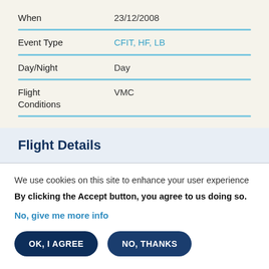| Field | Value |
| --- | --- |
| When | 23/12/2008 |
| Event Type | CFIT, HF, LB |
| Day/Night | Day |
| Flight Conditions | VMC |
Flight Details
We use cookies on this site to enhance your user experience
By clicking the Accept button, you agree to us doing so.
No, give me more info
OK, I AGREE
NO, THANKS